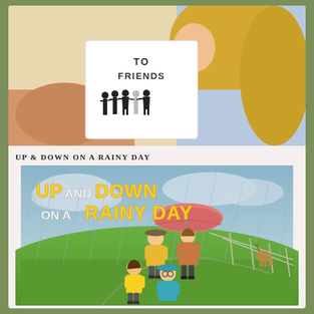[Figure (photo): A girl with long blonde hair reading a white book titled 'TO FRIENDS' showing silhouettes of children holding hands on the cover, wearing a floral top]
UP & DOWN ON A RAINY DAY
[Figure (illustration): Book cover of 'UP AND DOWN ON A RAINY DAY' showing cartoon children in rain gear (yellow raincoats, blue hat, teal coat) walking on a green hilly landscape in rainy weather, with a pink umbrella, deer in background; title text in yellow and white bold letters]